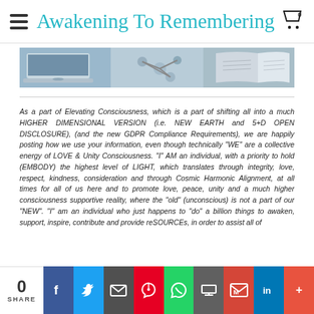Awakening To Remembering
[Figure (photo): Composite header image showing a laptop, molecular structure, and an open book in blue/grey tones]
As a part of Elevating Consciousness, which is a part of shifting all into a much HIGHER DIMENSIONAL VERSION (i.e. NEW EARTH and 5+D OPEN DISCLOSURE), (and the new GDPR Compliance Requirements), we are happily posting how we use your information, even though technically "WE" are a collective energy of LOVE & Unity Consciousness. "I" AM an individual, with a priority to hold (EMBODY) the highest level of LIGHT, which translates through integrity, love, respect, kindness, consideration and through Cosmic Harmonic Alignment, at all times for all of us here and to promote love, peace, unity and a much higher consciousness supportive reality, where the "old" (unconscious) is not a part of our "NEW". "I" am an individual who just happens to "do" a billion things to awaken, support, inspire, contribute and provide reSOURCEs, in order to assist all of
0 SHARE | Facebook | Twitter | Email | Pinterest | WhatsApp | Print | Gmail | LinkedIn | More